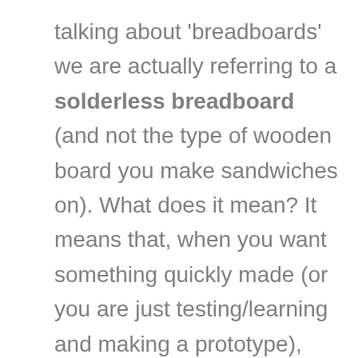talking about 'breadboards' we are actually referring to a solderless breadboard (and not the type of wooden board you make sandwiches on). What does it mean? It means that, when you want something quickly made (or you are just testing/learning and making a prototype), there is no need to use a soldering iron, you just plug each component in the right place (if you are following a tutorial of course) and it works! They are also great for the testing of each component before soldering them permanently. Imagine if you wanted to test a bunch of sensors to see if they work properly, and you had to solder